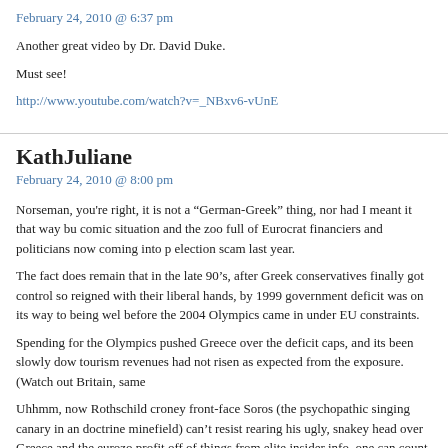February 24, 2010 @ 6:37 pm
Another great video by Dr. David Duke.
Must see!
http://www.youtube.com/watch?v=_NBxv6-vUnE
KathJuliane
February 24, 2010 @ 8:00 pm
Norseman, you're right, it is not a “German-Greek” thing, nor had I meant it that way bu comic situation and the zoo full of Eurocrat financiers and politicians now coming into p election scam last year.
The fact does remain that in the late 90’s, after Greek conservatives finally got control so reigned with their liberal hands, by 1999 government deficit was on its way to being wel before the 2004 Olympics came in under EU constraints.
Spending for the Olympics pushed Greece over the deficit caps, and its been slowly dow tourism revenues had not risen as expected from the exposure. (Watch out Britain, same
Uhhmm, now Rothschild croney front-face Soros (the psychopathic singing canary in an doctrine minefield) can’t resist rearing his ugly, snakey head over Greece and the eurozo profit off of things from elite insider info, one can count on it.
Let me recall the meltdown of the British pound in 1992 and the Asian meltdown in 199